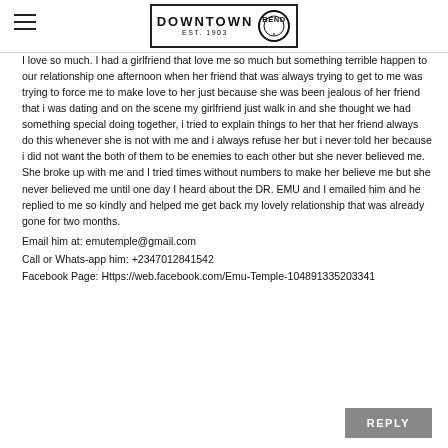DOWNTOWN EST. 1903 [logo with BEND circle]
I love so much. I had a girlfriend that love me so much but something terrible happen to our relationship one afternoon when her friend that was always trying to get to me was trying to force me to make love to her just because she was been jealous of her friend that i was dating and on the scene my girlfriend just walk in and she thought we had something special doing together, i tried to explain things to her that her friend always do this whenever she is not with me and i always refuse her but i never told her because i did not want the both of them to be enemies to each other but she never believed me. She broke up with me and I tried times without numbers to make her believe me but she never believed me until one day I heard about the DR. EMU and I emailed him and he replied to me so kindly and helped me get back my lovely relationship that was already gone for two months.
Email him at: emutemple@gmail.com
Call or Whats-app him: +2347012841542
Facebook Page: Https://web.facebook.com/Emu-Temple-104891335203341